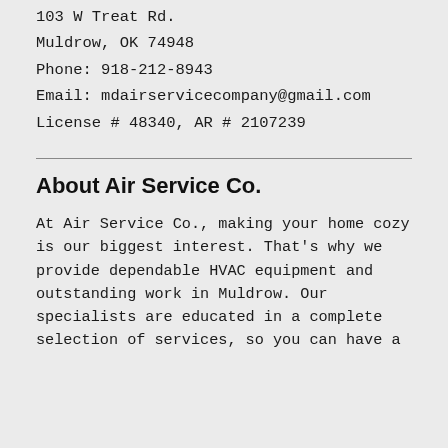103 W Treat Rd.
Muldrow, OK 74948
Phone: 918-212-8943
Email: mdairservicecompany@gmail.com
License # 48340, AR # 2107239
About Air Service Co.
At Air Service Co., making your home cozy is our biggest interest. That's why we provide dependable HVAC equipment and outstanding work in Muldrow. Our specialists are educated in a complete selection of services, so you can have a cl best in any results. They'll provide